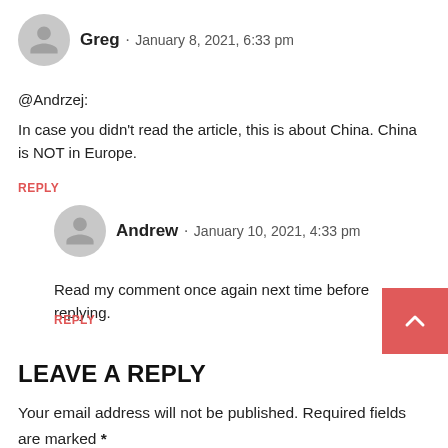Greg · January 8, 2021, 6:33 pm
@Andrzej:
In case you didn't read the article, this is about China. China is NOT in Europe.
REPLY
Andrew · January 10, 2021, 4:33 pm
Read my comment once again next time before replying.
REPLY
LEAVE A REPLY
Your email address will not be published. Required fields are marked *